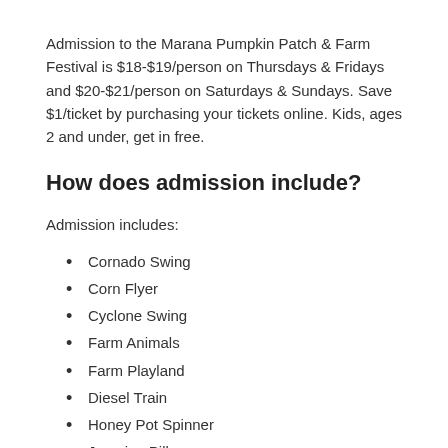Admission to the Marana Pumpkin Patch & Farm Festival is $18-$19/person on Thursdays & Fridays and $20-$21/person on Saturdays & Sundays. Save $1/ticket by purchasing your tickets online. Kids, ages 2 and under, get in free.
How does admission include?
Admission includes:
Cornado Swing
Corn Flyer
Cyclone Swing
Farm Animals
Farm Playland
Diesel Train
Honey Pot Spinner
Jumping Pillow